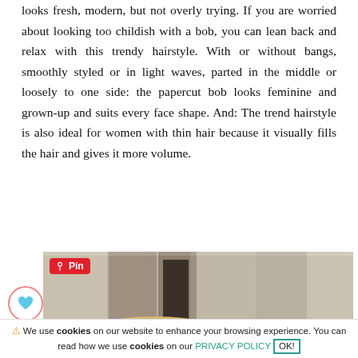looks fresh, modern, but not overly trying. If you are worried about looking too childish with a bob, you can lean back and relax with this trendy hairstyle. With or without bangs, smoothly styled or in light waves, parted in the middle or loosely to one side: the papercut bob looks feminine and grown-up and suits every face shape. And: The trend hairstyle is also ideal for women with thin hair because it visually fills the hair and gives it more volume.
[Figure (photo): Photo of a person with a blonde bob hairstyle standing in front of a stone building. A Pinterest 'Pin' badge overlay appears in the top-left corner. A heart icon badge appears on the lower-left overlapping the image.]
⚠ We use cookies on our website to enhance your browsing experience. You can read how we use cookies on our PRIVACY POLICY OK!